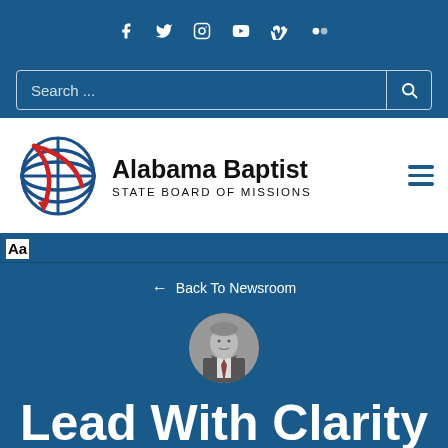Social icons: f (Facebook), Twitter, Instagram, YouTube, Vimeo, Flickr
Search ...
[Figure (logo): Alabama Baptist State Board of Missions logo with globe and cross graphic in red and blue]
Alabama Baptist STATE BOARD OF MISSIONS
Aa
← Back To Newsroom
[Figure (photo): Circular black and white headshot photo of a man in a suit]
Lead With Clarity